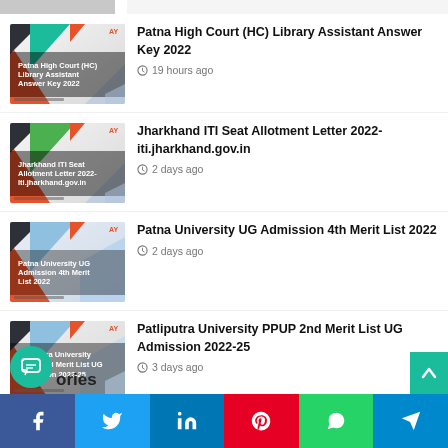[Figure (screenshot): Partial thumbnail strip at top of page]
Patna High Court (HC) Library Assistant Answer Key 2022
19 hours ago
Jharkhand ITI Seat Allotment Letter 2022- iti.jharkhand.gov.in
2 days ago
Patna University UG Admission 4th Merit List 2022
2 days ago
Patliputra University PPUP 2nd Merit List UG Admission 2022-25
3 days ago
ories